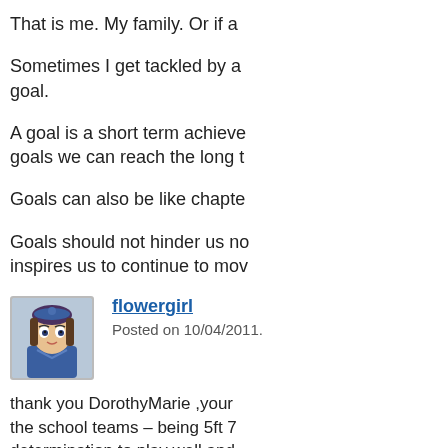RECENT ACTIVITY
That is me. My family. Or if a
Sometimes I get tackled by a goal.
A goal is a short term achieve goals we can reach the long t
Goals can also be like chapte
Goals should not hinder us no inspires us to continue to mov
[Figure (illustration): Cartoon avatar of a girl with blue hair and blue outfit (flowergirl profile picture)]
flowergirl
Posted on 10/04/2011.
thank you DorothyMarie ,your the school teams – being 5ft 7 determination to play well and was 100%focused .